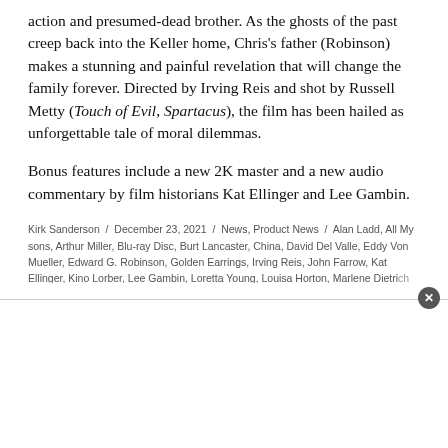action and presumed-dead brother. As the ghosts of the past creep back into the Keller home, Chris's father (Robinson) makes a stunning and painful revelation that will change the family forever. Directed by Irving Reis and shot by Russell Metty (Touch of Evil, Spartacus), the film has been hailed as unforgettable tale of moral dilemmas.
Bonus features include a new 2K master and a new audio commentary by film historians Kat Ellinger and Lee Gambin.
Kirk Sanderson / December 23, 2021 / News, Product News / Alan Ladd, All My sons, Arthur Miller, Blu-ray Disc, Burt Lancaster, China, David Del Valle, Eddy Von Mueller, Edward G. Robinson, Golden Earrings, Irving Reis, John Farrow, Kat Ellinger, Kino Lorber, Lee Gambin, Loretta Young, Louisa Horton, Marlene Dietrich